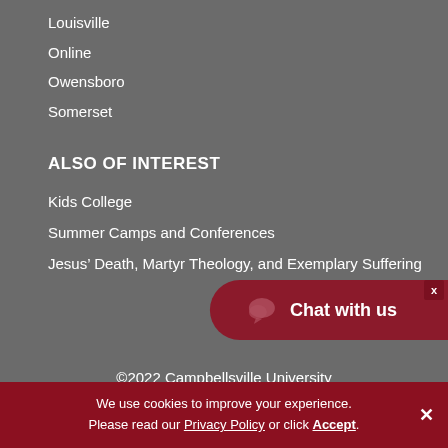Louisville
Online
Owensboro
Somerset
ALSO OF INTEREST
Kids College
Summer Camps and Conferences
Jesus’ Death, Martyr Theology, and Exemplary Suffering
[Figure (other): Dark red oval Chat with us button with chat bubble icon]
©2022 Campbellsville University
We use cookies to improve your experience. Please read our Privacy Policy or click Accept.